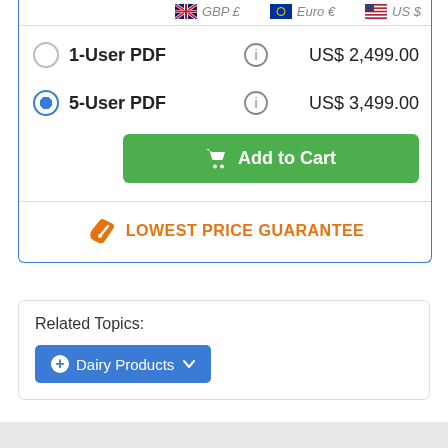| GBP £ | Euro € | US $ |
| --- | --- | --- |
| 1-User PDF | (info) | US$ 2,499.00 |
| 5-User PDF | (info) | US$ 3,499.00 |
Add to Cart
LOWEST PRICE GUARANTEE
Related Topics:
Dairy Products